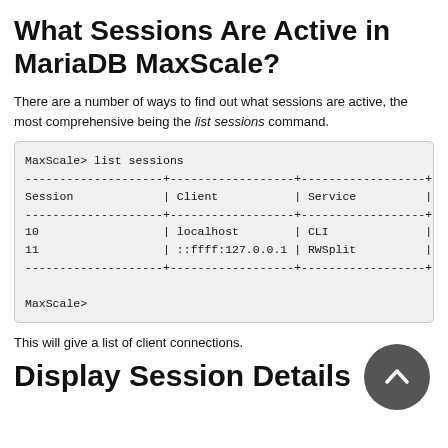What Sessions Are Active in MariaDB MaxScale?
There are a number of ways to find out what sessions are active, the most comprehensive being the list sessions command.
[Figure (screenshot): Terminal output showing MaxScale> list sessions command with a table listing sessions 10 (localhost, CLI) and 11 (::ffff:127.0.0.1, RWSplit), followed by MaxScale> prompt]
This will give a list of client connections.
Display Session Details